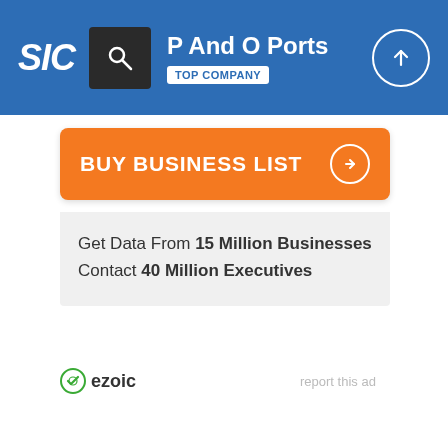SIC | P And O Ports | TOP COMPANY
BUY BUSINESS LIST
Get Data From 15 Million Businesses
Contact 40 Million Executives
[Figure (logo): Ezoic logo with green circular icon]
report this ad